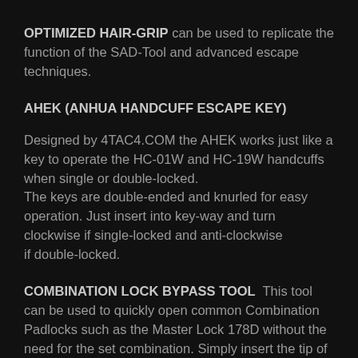OPTIMIZED HAIR-GRIP can be used to replicate the function of the SAD-Tool and advanced escape techniques.
AHEK (ANHUA HANDCUFF ESCAPE KEY)
Designed by 4TAC4.COM the AHEK works just like a key to operate the HC-01W and HC-19W handcuffs when single or double-locked. The keys are double-ended and knurled for easy operation. Just insert into key-way and turn clockwise if single-locked and anti-clockwise if double-locked.
COMBINATION LOCK BYPASS TOOL This tool can be used to quickly open common Combination Padlocks such as the Master Lock 178D without the need for the set combination. Simply insert the tip of the tool into the left side of wheel #2 at a slight angle and then